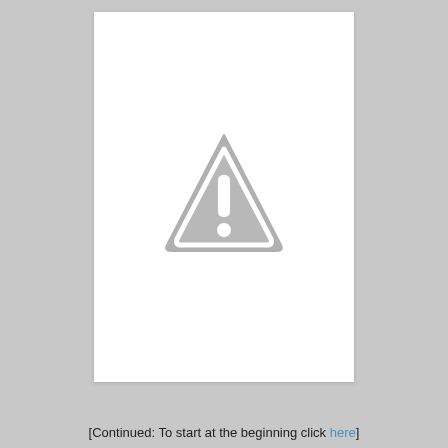[Figure (illustration): A grey warning/caution triangle icon with a white exclamation mark, centered on a white page area.]
[Continued: To start at the beginning click here]